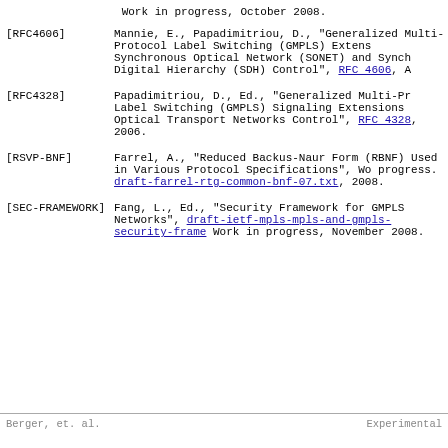Work in progress, October 2008.
[RFC4606] Mannie, E., Papadimitriou, D., "Generalized Multi-Protocol Label Switching (GMPLS) Extensions for Synchronous Optical Network (SONET) and Synchronous Digital Hierarchy (SDH) Control", RFC 4606, A
[RFC4328] Papadimitriou, D., Ed., "Generalized Multi-Protocol Label Switching (GMPLS) Signaling Extensions for Optical Transport Networks Control", RFC 4328, 2006.
[RSVP-BNF] Farrel, A., "Reduced Backus-Naur Form (RBNF) Used in Various Protocol Specifications", Work in progress. draft-farrel-rtg-common-bnf-07.txt, 2008.
[SEC-FRAMEWORK] Fang, L., Ed., "Security Framework for GMPLS Networks", draft-ietf-mpls-mpls-and-gmpls-security-frame, Work in progress, November 2008.
Berger, et. al.                    Experimental